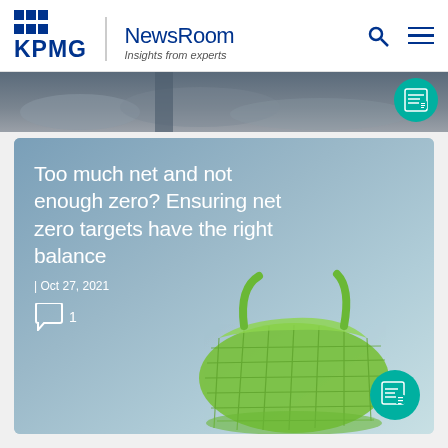KPMG | NewsRoom — Insights from experts
[Figure (screenshot): Partial dark cloudy sky image strip with a teal article-type badge icon on the right]
[Figure (photo): Article card with blue-green gradient background featuring a green mesh/net shopping bag. Article title: Too much net and not enough zero? Ensuring net zero targets have the right balance. Date: Oct 27, 2021. Comment count: 1. Teal article badge icon bottom right.]
Too much net and not enough zero? Ensuring net zero targets have the right balance
| Oct 27, 2021
1